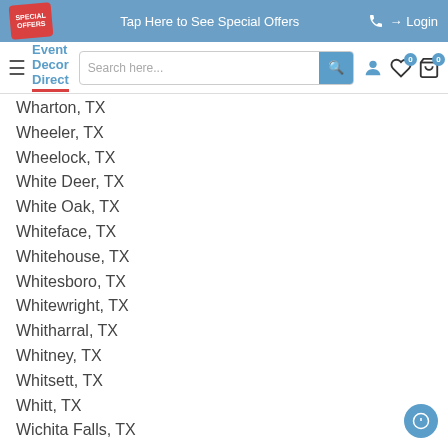Tap Here to See Special Offers | Login
[Figure (screenshot): Event Decor Direct website navigation header with logo, search bar, and icons]
Wharton, TX
Wheeler, TX
Wheelock, TX
White Deer, TX
White Oak, TX
Whiteface, TX
Whitehouse, TX
Whitesboro, TX
Whitewright, TX
Whitharral, TX
Whitney, TX
Whitsett, TX
Whitt, TX
Wichita Falls, TX
Wickett, TX
Wiergate, TX
Wildorado, TX
Willis, TX